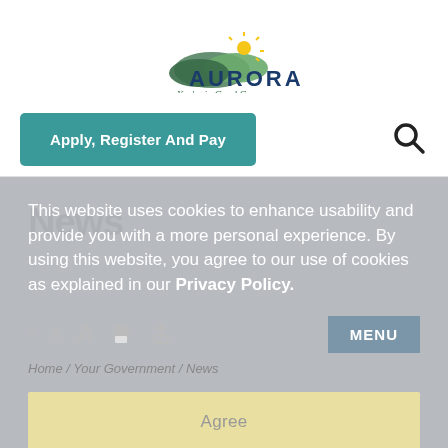[Figure (logo): Aurora city logo with green hills, sun, and text 'AURORA You're in Good Company']
Apply, Register And Pay
[Figure (other): Search magnifying glass icon]
News
This website uses cookies to enhance usability and provide you with a more personal experience. By using this website, you agree to our use of cookies as explained in our Privacy Policy.
Agree
Home / Your Government / News
Search